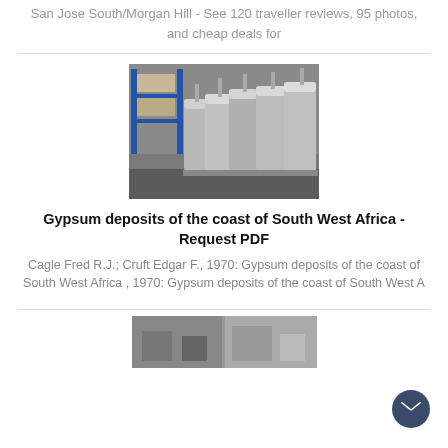San Jose South/Morgan Hill - See 120 traveller reviews, 95 photos, and cheap deals for
[Figure (photo): Photo of industrial metal tanks/containers inside a warehouse with blue shelving racks in the background]
Gypsum deposits of the coast of South West Africa - Request PDF
Cagle Fred R.J.; Cruft Edgar F., 1970: Gypsum deposits of the coast of South West Africa , 1970: Gypsum deposits of the coast of South West A
[Figure (photo): Partial photo visible at the bottom of the page]